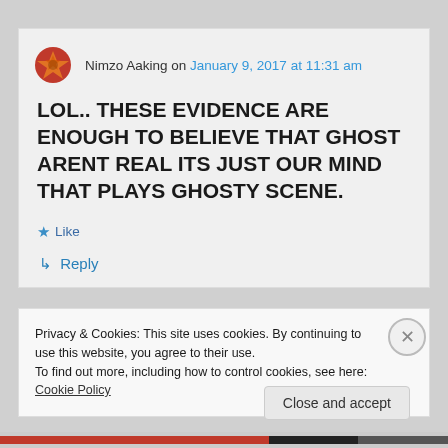Nimzo Aaking on January 9, 2017 at 11:31 am
LOL.. THESE EVIDENCE ARE ENOUGH TO BELIEVE THAT GHOST ARENT REAL ITS JUST OUR MIND THAT PLAYS GHOSTY SCENE.
★ Like
↳ Reply
Privacy & Cookies: This site uses cookies. By continuing to use this website, you agree to their use. To find out more, including how to control cookies, see here: Cookie Policy
Close and accept